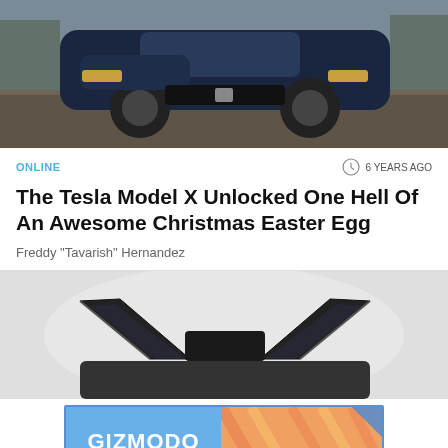[Figure (photo): Dark blue Tesla Model X SUV photographed from the front on a gravel surface]
ONLINE
6 YEARS AGO
The Tesla Model X Unlocked One Hell Of An Awesome Christmas Easter Egg
Freddy "Tavarish" Hernandez
[Figure (photo): Tesla Model X with falcon wing doors open, shown in misty/white background]
[Figure (other): Gizmodo advertisement banner with 'GIZMODO' on the left and 'CLICK HERE' button on the right, colorful striped design]